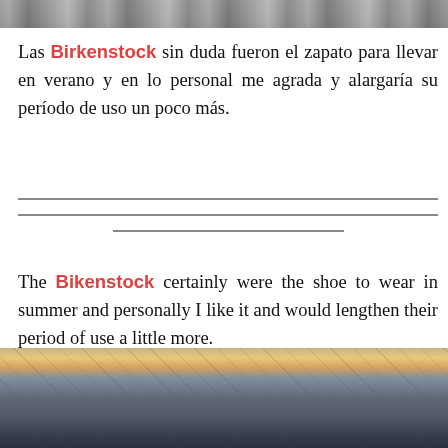[Figure (photo): Top portion of an outdoor/nature photo, cropped, showing sky and rocky terrain]
Las Birkenstock sin duda fueron el zapato para llevar en verano y en lo personal me agrada y alargaría su período de uso un poco más.
The Bikenstock certainly were the shoe to wear in summer and personally I like it and would lengthen their period of use a little more.
[Figure (photo): Photo of a blonde woman with sunglasses, hair blowing in wind, in front of dark car]